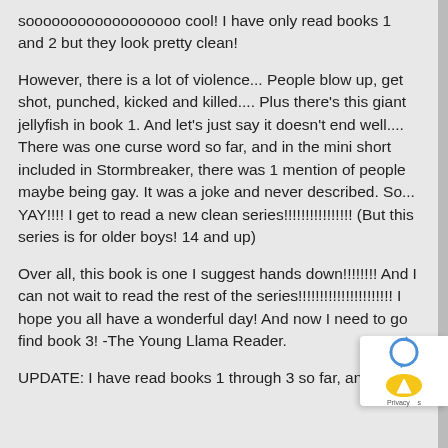soooooooooooooooooo cool! I have only read books 1 and 2 but they look pretty clean!
However, there is a lot of violence... People blow up, get shot, punched, kicked and killed.... Plus there's this giant jellyfish in book 1. And let's just say it doesn't end well.... There was one curse word so far, and in the mini short included in Stormbreaker, there was 1 mention of people maybe being gay. It was a joke and never described. So... YAY!!!! I get to read a new clean series!!!!!!!!!!!!!!!! (But this series is for older boys! 14 and up)
Over all, this book is one I suggest hands down!!!!!!!! And I can not wait to read the rest of the series!!!!!!!!!!!!!!!!!!!!!! I hope you all have a wonderful day! And now I need to go find book 3! -The Young Llama Reader.
UPDATE: I have read books 1 through 3 so far, and I